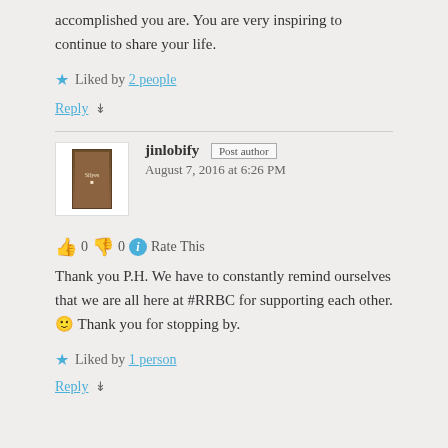accomplished you are. You are very inspiring to continue to share your life.
Liked by 2 people
Reply ↓
jinlobify Post author
August 7, 2016 at 6:26 PM
👍 0 👎 0 ℹ Rate This
Thank you P.H. We have to constantly remind ourselves that we are all here at #RRBC for supporting each other. 🙂 Thank you for stopping by.
Liked by 1 person
Reply ↓